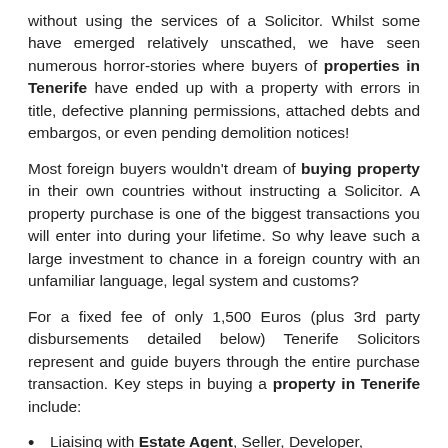without using the services of a Solicitor. Whilst some have emerged relatively unscathed, we have seen numerous horror-stories where buyers of properties in Tenerife have ended up with a property with errors in title, defective planning permissions, attached debts and embargos, or even pending demolition notices!
Most foreign buyers wouldn't dream of buying property in their own countries without instructing a Solicitor. A property purchase is one of the biggest transactions you will enter into during your lifetime. So why leave such a large investment to chance in a foreign country with an unfamiliar language, legal system and customs?
For a fixed fee of only 1,500 Euros (plus 3rd party disbursements detailed below) Tenerife Solicitors represent and guide buyers through the entire purchase transaction. Key steps in buying a property in Tenerife include:
Liaising with Estate Agent, Seller, Developer, Mortgage provider.
Preparation of deposit/private Sale contract, holding agreement.